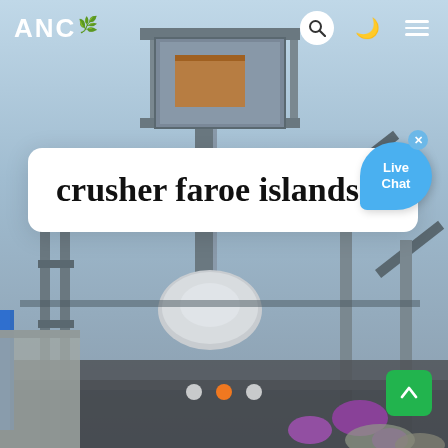[Figure (photo): Industrial crusher/mining machinery with steel frame structures, conveyor components, and piping photographed against a light blue sky background. The equipment appears to be a large stone crushing plant with metallic frameworks and blue and purple pipes visible.]
ANC
crusher faroe islands
[Figure (infographic): Live Chat speech bubble icon in blue with 'Live Chat' text and a close (x) button in the top right corner]